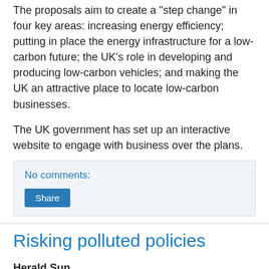The proposals aim to create a "step change" in four key areas: increasing energy efficiency; putting in place the energy infrastructure for a low-carbon future; the UK's role in developing and producing low-carbon vehicles; and making the UK an attractive place to locate low-carbon businesses.
The UK government has set up an interactive website to engage with business over the plans.
No comments:
Share
Risking polluted policies
Herald Sun
Thursday 19/3/2009 Page: 66
REVELATIONS this week by climate policy expert Dr Guy Pearse that the Construction Forestry Mining and Energy